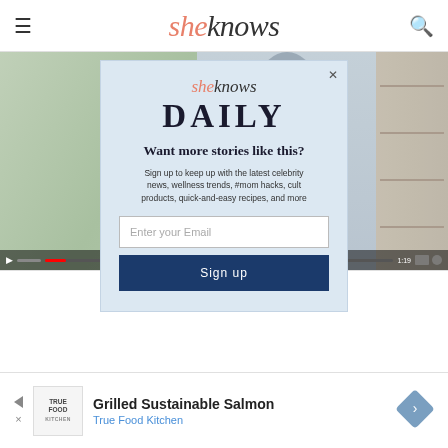sheknows — navigation header with hamburger menu and search icon
[Figure (screenshot): Video thumbnail showing a woman on a dock/boardwalk with a green field on the left and fence structure on the right, with video playback controls at the bottom]
[Figure (screenshot): Modal popup dialog for SheKnows Daily newsletter signup with logo, title DAILY, descriptive text, email input field, and sign up button]
Want more stories like this?
Sign up to keep up with the latest celebrity news, wellness trends, #mom hacks, cult products, quick-and-easy recipes, and more
Enter your Email
Sign up
[Figure (infographic): Advertisement banner for Grilled Sustainable Salmon by True Food Kitchen with logo, text, and navigation arrow icon]